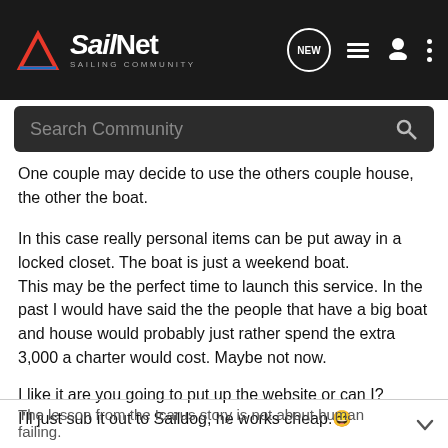SailNet SAILING COMMUNITY
One couple may decide to use the others couple house, the other the boat.
In this case really personal items can be put away in a locked closet. The boat is just a weekend boat.
This may be the perfect time to launch this service. In the past I would have said the the people that have a big boat and house would probably just rather spend the extra 3,000 a charter would cost. Maybe not now.
I like it are you going to put up the website or can I?
I'll just sub it out to Saildog, he works cheap. 😄
The lesson from the Icarus story is not about human failing.